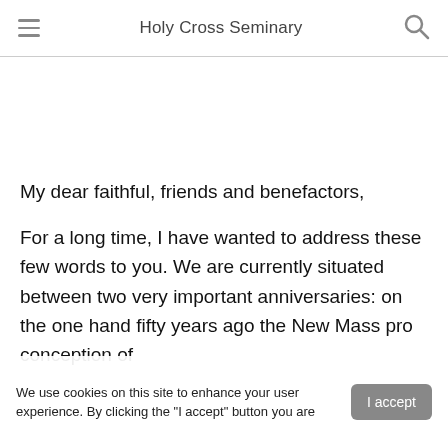Holy Cross Seminary
My dear faithful, friends and benefactors,
For a long time, I have wanted to address these few words to you. We are currently situated between two very important anniversaries: on the one hand fifty years ago the New Ma[ss] pro[moted a new] conception of
We use cookies on this site to enhance your user experience. By clicking the "I accept" button you are